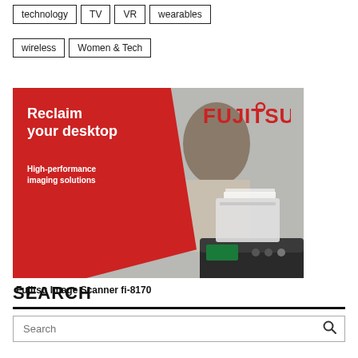technology
TV
VR
wearables
wireless
Women & Tech
[Figure (photo): Fujitsu advertisement showing a woman looking stressed at a desk with stacks of paper, alongside the Fujitsu fi-8170 image scanner. Red overlay with text 'Reclaim your desktop — High-performance imaging solutions' and Fujitsu logo.]
Fujitsu Image Scanner fi-8170
SEARCH